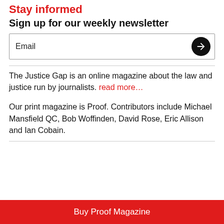Stay informed
Sign up for our weekly newsletter
Email
The Justice Gap is an online magazine about the law and justice run by journalists. read more…
Our print magazine is Proof. Contributors include Michael Mansfield QC, Bob Woffinden, David Rose, Eric Allison and Ian Cobain.
Buy Proof Magazine